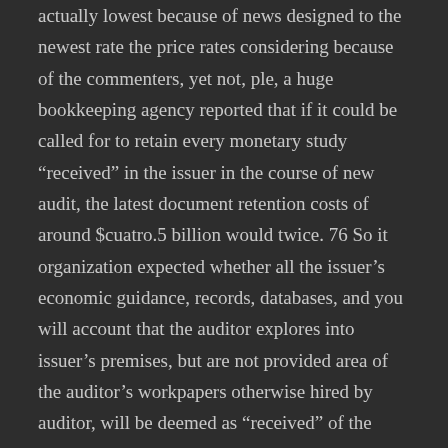actually lowest because of news designed to the newest rate the price rates considering because of the commenters, yet not, ple, a huge bookkeeping agency reported that if it could be called for to retain every monetary study “received” in the issuer in the course of new audit, the latest document retention costs of around $cuatro.5 billion would twice. 76 So it organization expected whether all the issuer’s economic guidance, records, databases, and you will account that the auditor explores into issuer’s premises, but are not provided area of the auditor’s workpapers otherwise hired by auditor, will be deemed as “received” of the auditor and you can susceptible to new maintenance standards in signal 2-06. Accordingly, we do not believe that the new “received” expectations in laws dos-06(a)(1) requires that auditors hold eg facts plus the company’s forecast file retention costs, therefore, is rather less.